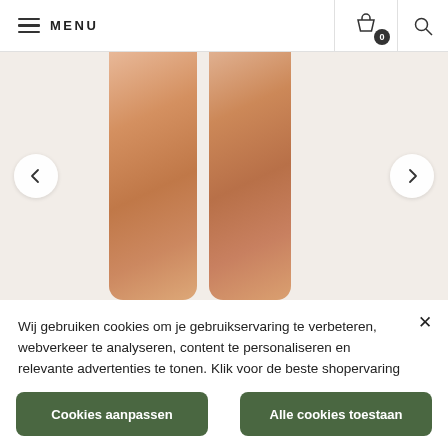☰ MENU
[Figure (photo): Product image showing two rose-gold/sandy colored cylindrical shapes (legs or product bottles) on a light beige background, with left and right navigation arrows]
Wij gebruiken cookies om je gebruikservaring te verbeteren, webverkeer te analyseren, content te personaliseren en relevante advertenties te tonen. Klik voor de beste shopervaring op "Alle cookies toestaan".
Cookies aanpassen
Alle cookies toestaan